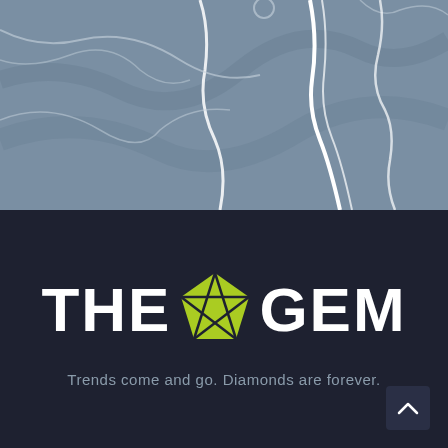[Figure (map): Stylized map with blue-gray background showing white road/path lines and routes on a muted slate blue terrain]
[Figure (logo): THE GEM logo with white bold text and a lime green pentagon gem icon between THE and GEM]
Trends come and go. Diamonds are forever.